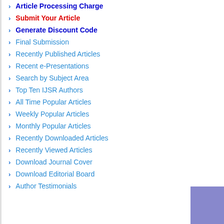Article Processing Charge
Submit Your Article
Generate Discount Code
Final Submission
Recently Published Articles
Recent e-Presentations
Search by Subject Area
Top Ten IJSR Authors
All Time Popular Articles
Weekly Popular Articles
Monthly Popular Articles
Recently Downloaded Articles
Recently Viewed Articles
Download Journal Cover
Download Editorial Board
Author Testimonials